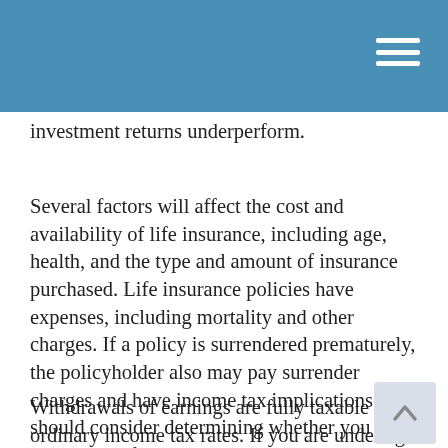investment returns underperform.
Several factors will affect the cost and availability of life insurance, including age, health, and the type and amount of insurance purchased. Life insurance policies have expenses, including mortality and other charges. If a policy is surrendered prematurely, the policyholder also may pay surrender charges and have income tax implications. You should consider determining whether you are insurable before implementing a strategy involving life insurance. Any guarantees associated with a policy are dependent on the ability of the issuing insurance company to continue making claim payments.
Withdrawals of earnings are fully taxable at ordinary income tax rates. If you are under age 59½ when you make the withdrawal, you may be subject to surrender